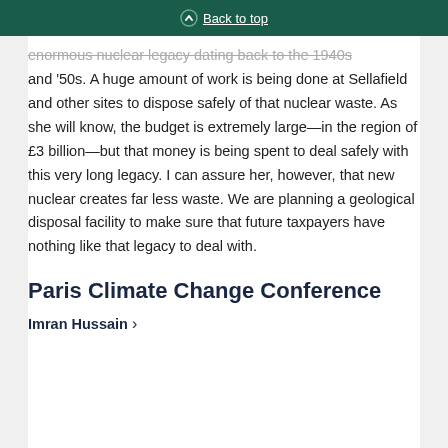Back to top
enormous nuclear legacy dating back to the 1940s and '50s. A huge amount of work is being done at Sellafield and other sites to dispose safely of that nuclear waste. As she will know, the budget is extremely large—in the region of £3 billion—but that money is being spent to deal safely with this very long legacy. I can assure her, however, that new nuclear creates far less waste. We are planning a geological disposal facility to make sure that future taxpayers have nothing like that legacy to deal with.
Paris Climate Change Conference
Imran Hussain >